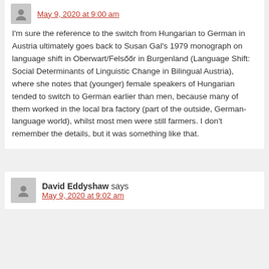May 9, 2020 at 9:00 am
I'm sure the reference to the switch from Hungarian to German in Austria ultimately goes back to Susan Gal's 1979 monograph on language shift in Oberwart/Felsőőr in Burgenland (Language Shift: Social Determinants of Linguistic Change in Bilingual Austria), where she notes that (younger) female speakers of Hungarian tended to switch to German earlier than men, because many of them worked in the local bra factory (part of the outside, German-language world), whilst most men were still farmers. I don't remember the details, but it was something like that.
David Eddyshaw says
May 9, 2020 at 9:02 am